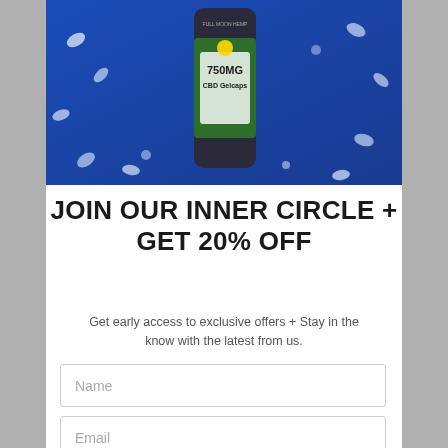[Figure (photo): Product photo: Full Moon Hemp 750MG CBD Gelcaps bottle on a blue background with scattered gel capsules]
JOIN OUR INNER CIRCLE + GET 20% OFF
Get early access to exclusive offers + Stay in the know with the latest from us.
Name (input field)
Email (input field)
JOIN THE LIST